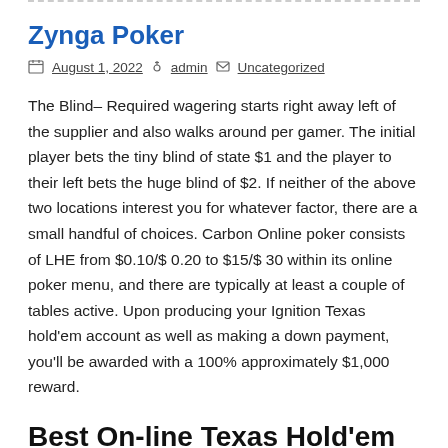Zynga Poker
August 1, 2022  admin  Uncategorized
The Blind– Required wagering starts right away left of the supplier and also walks around per gamer. The initial player bets the tiny blind of state $1 and the player to their left bets the huge blind of $2. If neither of the above two locations interest you for whatever factor, there are a small handful of choices. Carbon Online poker consists of LHE from $0.10/$ 0.20 to $15/$ 30 within its online poker menu, and there are typically at least a couple of tables active. Upon producing your Ignition Texas hold'em account as well as making a down payment, you'll be awarded with a 100% approximately $1,000 reward.
Best On-line Texas Hold'em Websites 2022